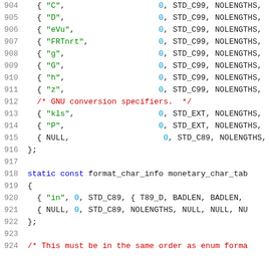Source code listing lines 904-924 showing C format_char_info table entries including GNU conversion specifiers and monetary_char_tab definition